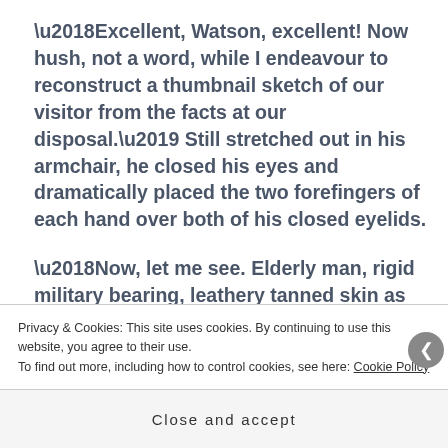‘Excellent, Watson, excellent! Now hush, not a word, while I endeavour to reconstruct a thumbnail sketch of our visitor from the facts at our disposal.’ Still stretched out in his armchair, he closed his eyes and dramatically placed the two forefingers of each hand over both of his closed eyelids.

‘Now, let me see. Elderly man, rigid military bearing, leathery tanned skin as testament to his long years in India. Not a subaltern, but a
Privacy & Cookies: This site uses cookies. By continuing to use this website, you agree to their use.
To find out more, including how to control cookies, see here: Cookie Policy
Close and accept